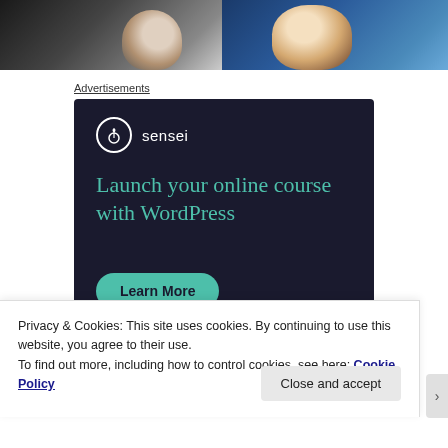[Figure (photo): Two cropped portrait photos side by side: left shows a person in light/white clothing against dark background; right shows a person with blonde hair in dark blue clothing]
Advertisements
[Figure (screenshot): Sensei advertisement banner on dark navy background. Logo: circle with tree/zen icon, text 'sensei'. Headline in teal: 'Launch your online course with WordPress'. Teal rounded button: 'Learn More'. Footer: WordPress.com powered by WordPress.com logo.]
Privacy & Cookies: This site uses cookies. By continuing to use this website, you agree to their use.
To find out more, including how to control cookies, see here: Cookie Policy
Close and accept